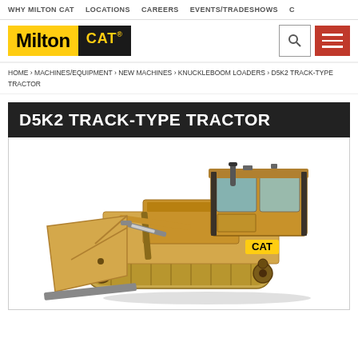WHY MILTON CAT  LOCATIONS  CAREERS  EVENTS/TRADESHOWS  C
[Figure (logo): Milton CAT logo — yellow background with bold 'Milton' text and black CAT logo]
HOME > MACHINES/EQUIPMENT > NEW MACHINES > KNUCKLEBOOM LOADERS > D5K2 TRACK-TYPE TRACTOR
D5K2 TRACK-TYPE TRACTOR
[Figure (photo): CAT D5K2 Track-Type Tractor bulldozer on white background, yellow machine with large blade in front and CAT logo on the side]